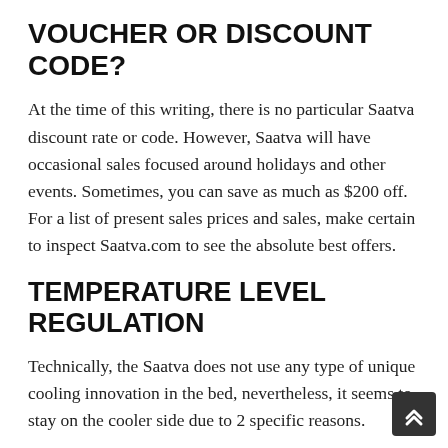VOUCHER OR DISCOUNT CODE?
At the time of this writing, there is no particular Saatva discount rate or code. However, Saatva will have occasional sales focused around holidays and other events. Sometimes, you can save as much as $200 off. For a list of present sales prices and sales, make certain to inspect Saatva.com to see the absolute best offers.
TEMPERATURE LEVEL REGULATION
Technically, the Saatva does not use any type of unique cooling innovation in the bed, nevertheless, it seems to stay on the cooler side due to 2 specific reasons.
One of the first is the two layers of coils which enable more air to travel through the mattress compared to those filled with dense foam, which will